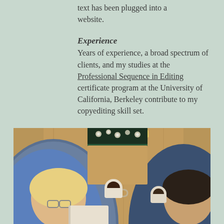text has been plugged into a website.
Experience
Years of experience, a broad spectrum of clients, and my studies at the Professional Sequence in Editing certificate program at the University of California, Berkeley contribute to my copyediting skill set.
Polish your message with clear and effective writing.
[Figure (photo): Overhead view of two people sitting at a wooden table with books, notebooks, and coffee cups]